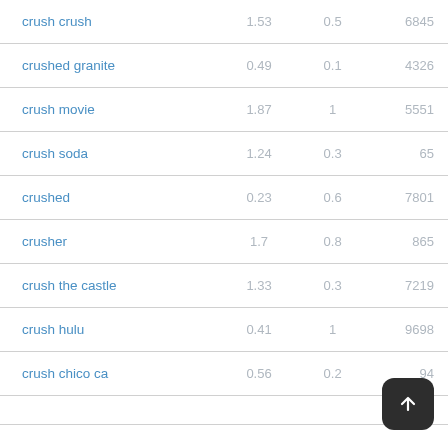| Keyword | Col1 | Col2 | Col3 |
| --- | --- | --- | --- |
| crush crush | 1.53 | 0.5 | 6845 |
| crushed granite | 0.49 | 0.1 | 4326 |
| crush movie | 1.87 | 1 | 5551 |
| crush soda | 1.24 | 0.3 | 65 |
| crushed | 0.23 | 0.6 | 7801 |
| crusher | 1.7 | 0.8 | 865 |
| crush the castle | 1.33 | 0.3 | 7219 |
| crush hulu | 0.41 | 1 | 9698 |
| crush chico ca | 0.56 | 0.2 | 94... |